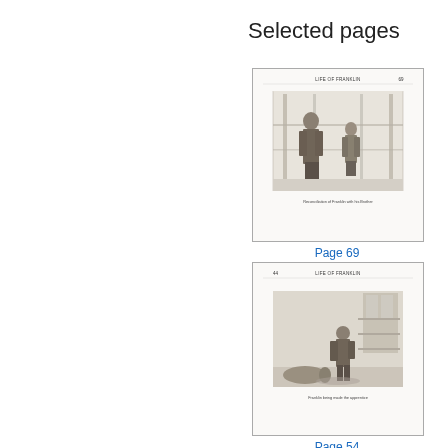Selected pages
[Figure (illustration): Thumbnail of page 69 from a book, showing a historical engraving of two figures (Franklin and his brother) with header text 'LIFE OF FRANKLIN' and a caption below the image.]
Page 69
[Figure (illustration): Thumbnail of page 54 from a book, showing a historical engraving of a figure moving inside a shop or room with a header 'LIFE OF FRANKLIN' and a caption below the image.]
Page 54